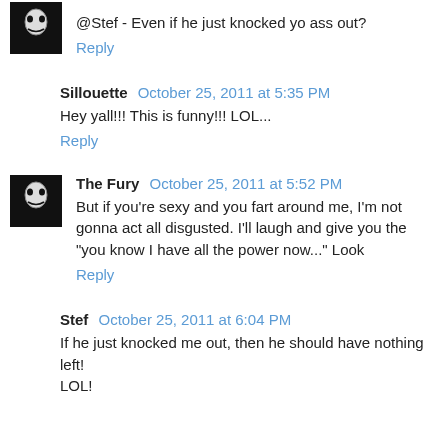@Stef - Even if he just knocked yo ass out?
Reply
Sillouette  October 25, 2011 at 5:35 PM
Hey yall!!! This is funny!!! LOL...
Reply
The Fury  October 25, 2011 at 5:52 PM
But if you're sexy and you fart around me, I'm not gonna act all disgusted. I'll laugh and give you the "you know I have all the power now..." Look
Reply
Stef  October 25, 2011 at 6:04 PM
If he just knocked me out, then he should have nothing left! LOL!